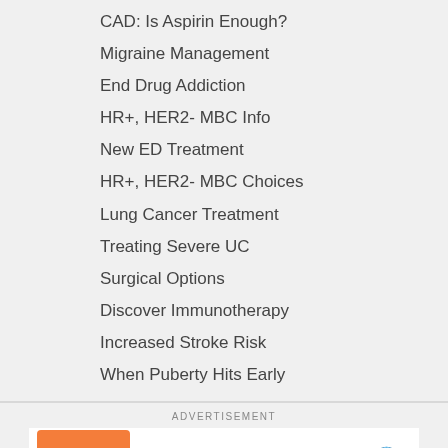CAD: Is Aspirin Enough?
Migraine Management
End Drug Addiction
HR+, HER2- MBC Info
New ED Treatment
HR+, HER2- MBC Choices
Lung Cancer Treatment
Treating Severe UC
Surgical Options
Discover Immunotherapy
Increased Stroke Risk
When Puberty Hits Early
ADVERTISEMENT
[Figure (other): Advertisement banner in Persian/Farsi language with orange button labeled 'بار کردن' and text 'بازرگانی سپاهان همراه' and 'فرصتی عالی برای کسب س' with a globe/satellite icon]